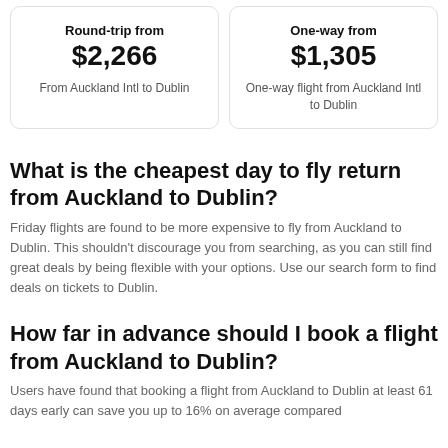Round-trip from $2,266
From Auckland Intl to Dublin
One-way from $1,305
One-way flight from Auckland Intl to Dublin
What is the cheapest day to fly return from Auckland to Dublin?
Friday flights are found to be more expensive to fly from Auckland to Dublin. This shouldn't discourage you from searching, as you can still find great deals by being flexible with your options. Use our search form to find deals on tickets to Dublin.
How far in advance should I book a flight from Auckland to Dublin?
Users have found that booking a flight from Auckland to Dublin at least 61 days early can save you up to 16% on average compared